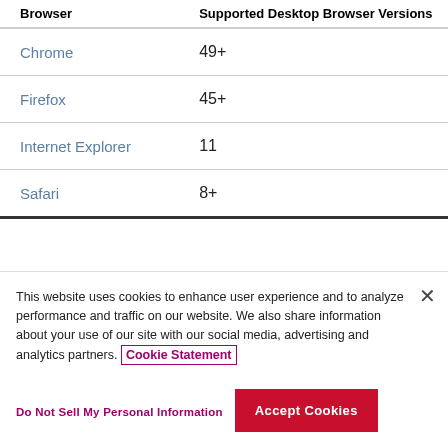| Browser | Supported Desktop Browser Versions |
| --- | --- |
| Chrome | 49+ |
| Firefox | 45+ |
| Internet Explorer | 11 |
| Safari | 8+ |
Install Compatibilities
This website uses cookies to enhance user experience and to analyze performance and traffic on our website. We also share information about your use of our site with our social media, advertising and analytics partners. Cookie Statement
Do Not Sell My Personal Information
Accept Cookies